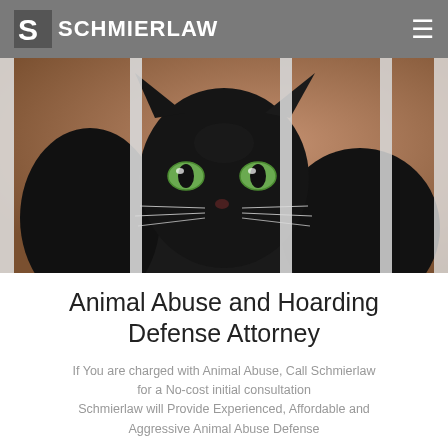SCHMIERLAW
[Figure (photo): Close-up photo of a black cat looking through metal cage bars, with green eyes visible between the bars. Blurred warm brown background.]
Animal Abuse and Hoarding Defense Attorney
If You are charged with Animal Abuse, Call Schmierlaw for a No-cost initial consultation Schmierlaw will Provide Experienced, Affordable and Aggressive Animal Abuse Defense
@ Send Us an Email